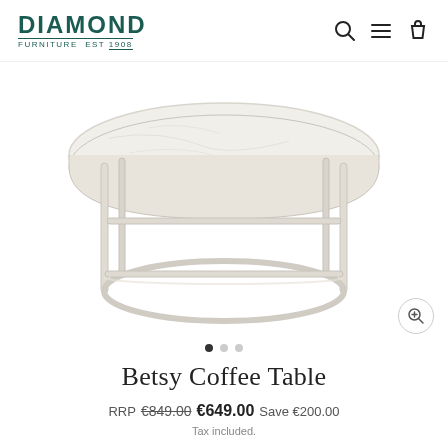DIAMOND FURNITURE Est 1908
[Figure (photo): A white oval/elliptical coffee table with a marble-look white top and white metal frame legs with oval base stretcher, photographed against a white background.]
Betsy Coffee Table
RRP €849.00  €649.00  Save €200.00
Tax included.